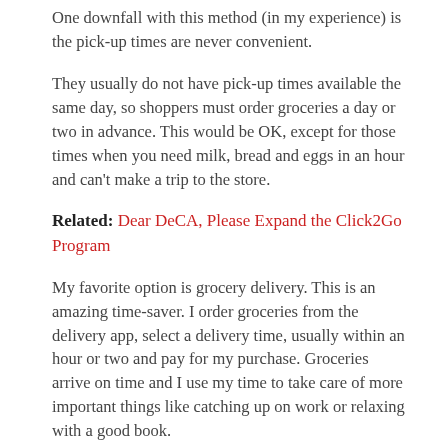One downfall with this method (in my experience) is the pick-up times are never convenient.
They usually do not have pick-up times available the same day, so shoppers must order groceries a day or two in advance. This would be OK, except for those times when you need milk, bread and eggs in an hour and can't make a trip to the store.
Related: Dear DeCA, Please Expand the Click2Go Program
My favorite option is grocery delivery. This is an amazing time-saver. I order groceries from the delivery app, select a delivery time, usually within an hour or two and pay for my purchase. Groceries arrive on time and I use my time to take care of more important things like catching up on work or relaxing with a good book.